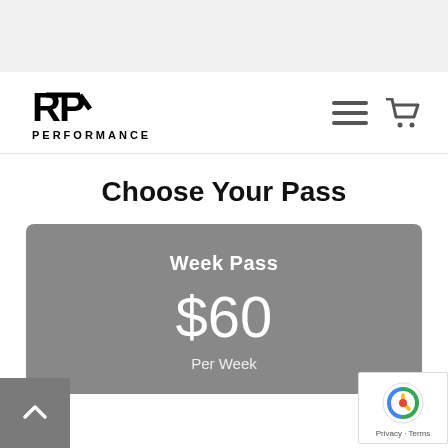[Figure (logo): RP Performance logo with stylized R and P letters and PERFORMANCE text below]
Choose Your Pass
Week Pass
$60
Per Week